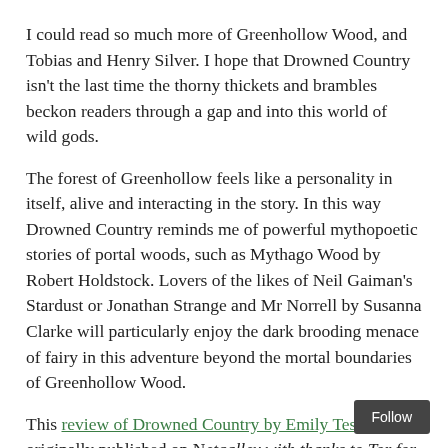I could read so much more of Greenhollow Wood, and Tobias and Henry Silver. I hope that Drowned Country isn't the last time the thorny thickets and brambles beckon readers through a gap and into this world of wild gods.
The forest of Greenhollow feels like a personality in itself, alive and interacting in the story. In this way Drowned Country reminds me of powerful mythopoetic stories of portal woods, such as Mythago Wood by Robert Holdstock. Lovers of the likes of Neil Gaiman's Stardust or Jonathan Strange and Mr Norrell by Susanna Clarke will particularly enjoy the dark brooding menace of fairy in this adventure beyond the mortal boundaries of Greenhollow Wood.
This review of Drowned Country by Emily Tesh was originally published on Netgalley with thanks to Tor for the advanced reading copy.